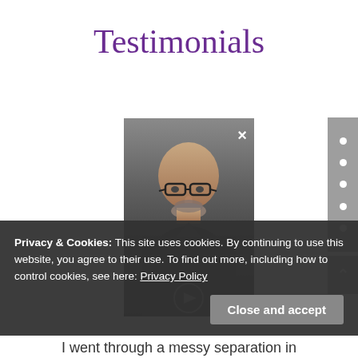Testimonials
[Figure (photo): Video player showing a middle-aged bald man with glasses and a beard, wearing a dark shirt, with an X close button in the upper right. A play icon is partially visible at the bottom.]
Privacy & Cookies: This site uses cookies. By continuing to use this website, you agree to their use. To find out more, including how to control cookies, see here: Privacy Policy
I went through a messy separation in